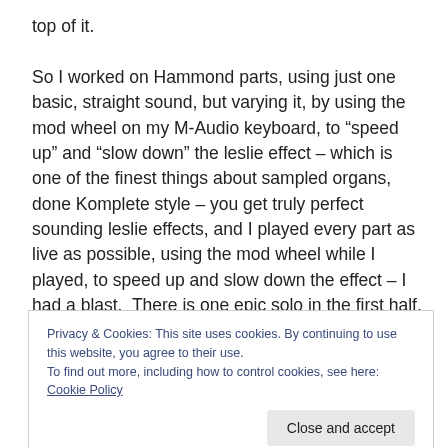top of it.

So I worked on Hammond parts, using just one basic, straight sound, but varying it, by using the mod wheel on my M-Audio keyboard, to “speed up” and “slow down” the leslie effect – which is one of the finest things about sampled organs, done Komplete style – you get truly perfect sounding leslie effects, and I played every part as live as possible, using the mod wheel while I played, to speed up and slow down the effect – I had a blast.  There is one epic solo in the first half, and another accidental
Privacy & Cookies: This site uses cookies. By continuing to use this website, you agree to their use.
To find out more, including how to control cookies, see here: Cookie Policy